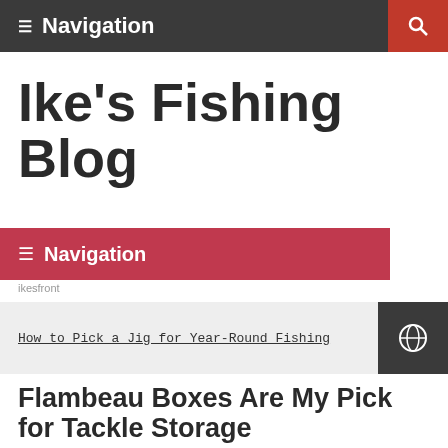≡ Navigation
Ike's Fishing Blog
≡ Navigation
How to Pick a Jig for Year-Round Fishing
Flambeau Boxes Are My Pick for Tackle Storage
JANUARY 26, 2018  MIKE IACONELLI  0